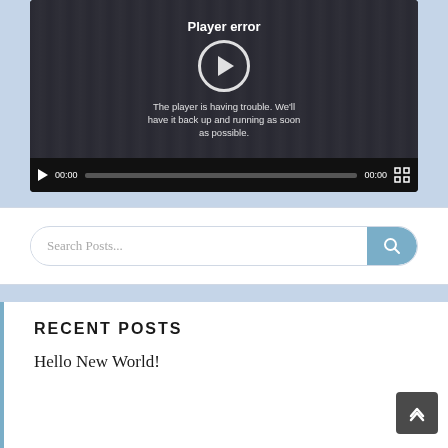[Figure (screenshot): Video player showing a 'Player error' message with a play button overlay. Controls show 00:00 timecodes and a progress bar.]
Search Posts...
RECENT POSTS
Hello New World!